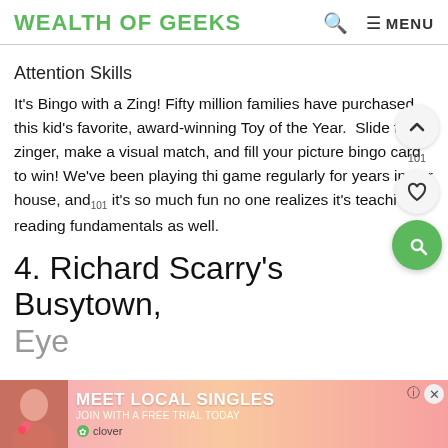WEALTH OF GEEKS
Attention Skills
It's Bingo with a Zing! Fifty million families have purchased this kid's favorite, award-winning Toy of the Year. Slide the zinger, make a visual match, and fill your picture bingo card to win! We've been playing this game regularly for years in our house, and it's so much fun no one realizes it's teaching reading fundamentals as well.
4. Richard Scarry's Busytown, Eye...